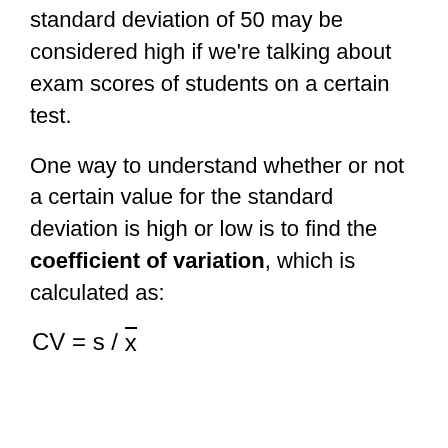standard deviation of 50 may be considered high if we're talking about exam scores of students on a certain test.
One way to understand whether or not a certain value for the standard deviation is high or low is to find the coefficient of variation, which is calculated as: